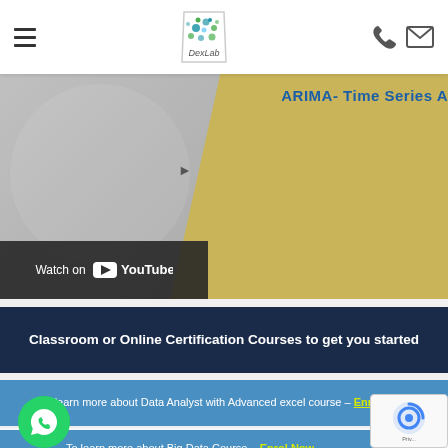DexLab - navigation bar with hamburger menu, logo, phone and email icons
[Figure (screenshot): YouTube video thumbnail showing ARIMA Time Series Analysis course with Watch on YouTube overlay button]
Classroom or Online Certification Courses to get you started
To learn more about Data Analyst with Advanced excel course – Enrol Now
To learn more about Big Data Course – Enrol Now
To learn more about Machine Learning Using Python and – Enrol Now
To learn more about Data Analyst with SAS Course – Enrol Now